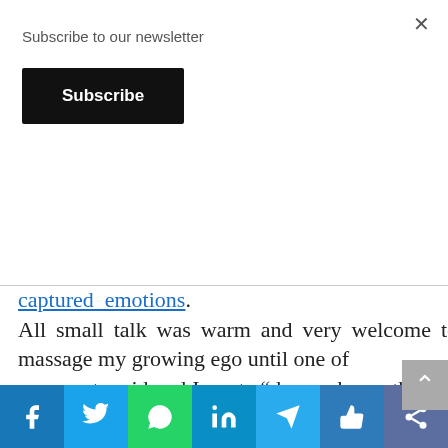Subscribe to our newsletter
Subscribe
captured emotions.
All small talk was warm and very welcome to massage my growing ego until one of
my guests said and I quote “do you know that the photographer owns the copyright on your pictures?” basically she could do what she pleases with my